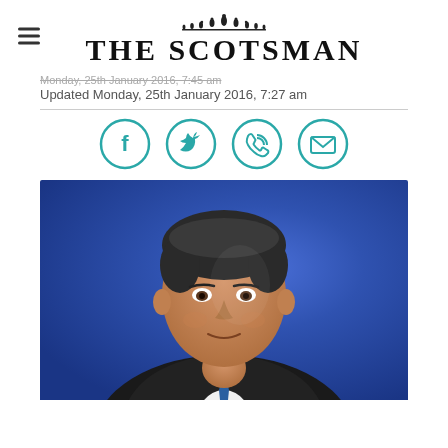THE SCOTSMAN
Monday, 25th January 2016, 7:27 am
Updated  Monday, 25th January 2016, 7:27 am
[Figure (other): Social sharing icons: Facebook, Twitter, WhatsApp, Email — teal outlined circles]
[Figure (photo): Professional headshot of a middle-aged man with dark hair, wearing a dark suit and blue tie, against a blue background]